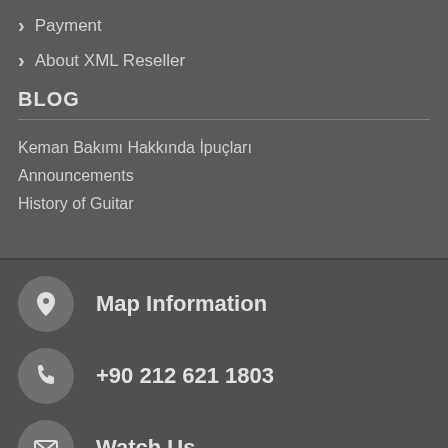Payment
About XML Reseller
BLOG
Keman Bakımı Hakkında İpuçları
Announcements
History of Guitar
Map Information
+90 212 621 1803
Watch Us